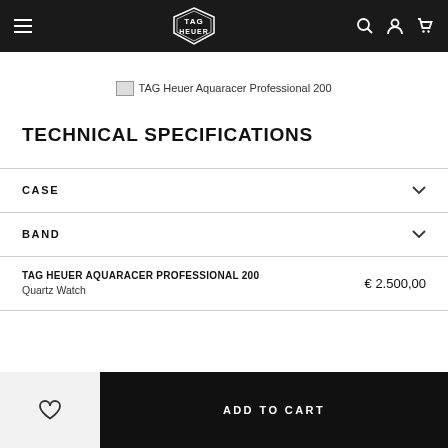TAG Heuer navigation bar with hamburger menu, logo, search, account, and cart icons
[Figure (photo): TAG Heuer Aquaracer Professional 200 watch product image (broken/placeholder)]
TAG Heuer Aquaracer Professional 200
TECHNICAL SPECIFICATIONS
CASE
BAND
TAG HEUER AQUARACER PROFESSIONAL 200
Quartz Watch
€ 2.500,00
ADD TO CART